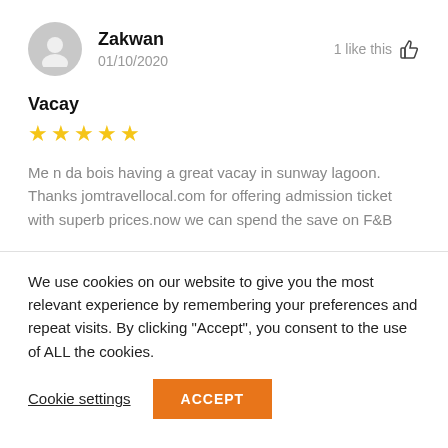Zakwan
01/10/2020
1 like this
Vacay
★★★★★
Me n da bois having a great vacay in sunway lagoon. Thanks jomtravellocal.com for offering admission ticket with superb prices.now we can spend the save on F&B
We use cookies on our website to give you the most relevant experience by remembering your preferences and repeat visits. By clicking "Accept", you consent to the use of ALL the cookies.
Cookie settings
ACCEPT